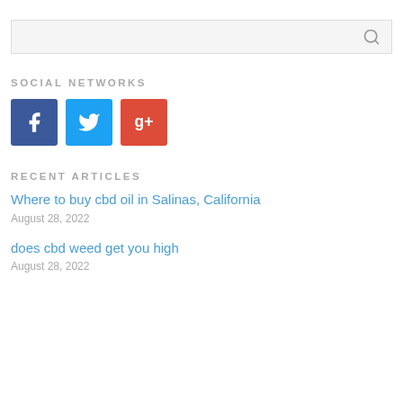[Figure (other): Search box with magnifying glass icon]
SOCIAL NETWORKS
[Figure (infographic): Three social media buttons: Facebook (blue), Twitter (light blue), Google+ (red)]
RECENT ARTICLES
Where to buy cbd oil in Salinas, California
August 28, 2022
does cbd weed get you high
August 28, 2022
(partial article title visible)